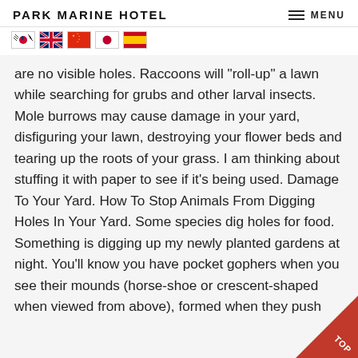PARK MARINE HOTEL   MENU
[Figure (other): Row of five country flag icons: South Korea, United Kingdom, China, Japan, Spain]
are no visible holes. Raccoons will "roll-up" a lawn while searching for grubs and other larval insects. Mole burrows may cause damage in your yard, disfiguring your lawn, destroying your flower beds and tearing up the roots of your grass. I am thinking about stuffing it with paper to see if it's being used. Damage To Your Yard. How To Stop Animals From Digging Holes In Your Yard. Some species dig holes for food. Something is digging up my newly planted gardens at night. You'll know you have pocket gophers when you see their mounds (horse-shoe or crescent-shaped when viewed from above), formed when they push the loose dirt to the surface while tunneling. Some prairie dogs, including the black-tailed prairie dog, live in colonies called towns... Or Voles Digging U...